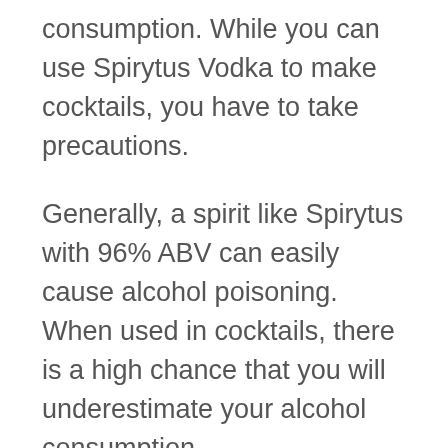consumption. While you can use Spirytus Vodka to make cocktails, you have to take precautions.
Generally, a spirit like Spirytus with 96% ABV can easily cause alcohol poisoning. When used in cocktails, there is a high chance that you will underestimate your alcohol consumption.
However, Spirytus Vodka is safe to consume when used as the base spirit for a liqueur provided that you follow a reliable recipe.